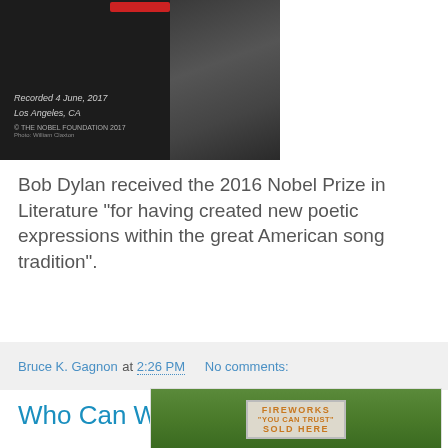[Figure (photo): Black and white photo/poster with text 'Recorded 4 June, 2017 Los Angeles, CA' and '© THE NOBEL FOUNDATION 2017', showing a man's face partially visible on the right side]
Bob Dylan received the 2016 Nobel Prize in Literature "for having created new poetic expressions within the great American song tradition".
Bruce K. Gagnon at 2:26 PM    No comments:
Who Can We Trust?
[Figure (photo): Photo of a roadside sign reading: FIREWORKS "YOU CAN TRUST" SOLD HERE, with green foliage in the background]